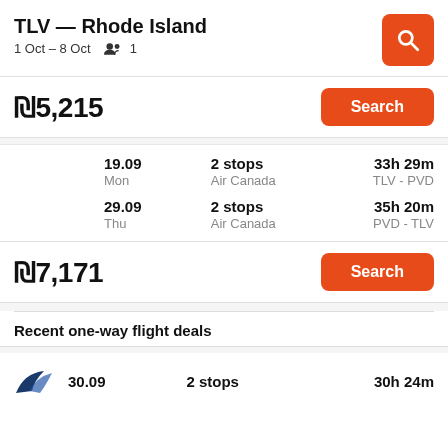TLV — Rhode Island
1 Oct – 8 Oct  👥 1
₪5,215
Search
19.09 Mon | 2 stops Air Canada | 33h 29m TLV - PVD
29.09 Thu | 2 stops Air Canada | 35h 20m PVD - TLV
₪7,171
Search
Recent one-way flight deals
30.09 | 2 stops | 30h 24m